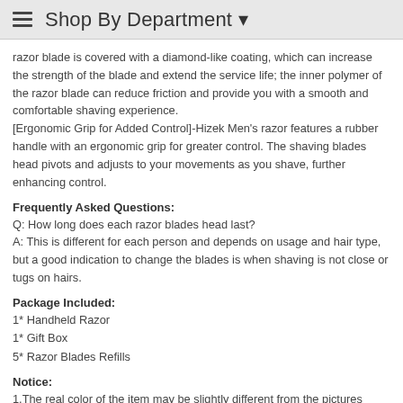Shop By Department
razor blade is covered with a diamond-like coating, which can increase the strength of the blade and extend the service life; the inner polymer of the razor blade can reduce friction and provide you with a smooth and comfortable shaving experience.
[Ergonomic Grip for Added Control]-Hizek Men's razor features a rubber handle with an ergonomic grip for greater control. The shaving blades head pivots and adjusts to your movements as you shave, further enhancing control.
Frequently Asked Questions:
Q: How long does each razor blades head last?
A: This is different for each person and depends on usage and hair type, but a good indication to change the blades is when shaving is not close or tugs on hairs.
Package Included:
1* Handheld Razor
1* Gift Box
5* Razor Blades Refills
Notice:
1.The real color of the item may be slightly different from the pictures shown on website caused by many factors such as brightness of your monitor and light brightness.